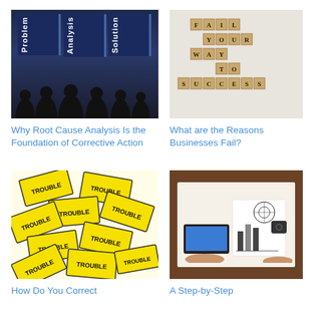[Figure (illustration): Dark image with three vertical banners labeled Problem, Analysis, Solution with silhouettes of people at the bottom]
Why Root Cause Analysis Is the Foundation of Corrective Action
[Figure (photo): Scrabble tiles arranged to spell out FAIL YOUR WAY TO SUCCESS on a light background]
What are the Reasons Businesses Fail?
[Figure (illustration): Many yellow diamond-shaped TROUBLE warning signs scattered on a white background]
How Do You Correct
[Figure (photo): Overhead view of hands working at a desk with laptop, notebook with business diagrams, and camera]
A Step-by-Step